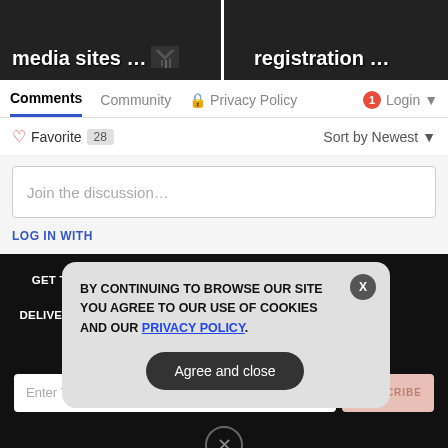[Figure (screenshot): Two dark thumbnail images side by side showing truncated text: 'media sites ...' on left and 'registration ...' on right]
Comments   Community   🔒 Privacy Policy   1  Login ▾
♡ Favorite  28      Sort by Newest ▾
Join the discussion...
LOG IN WITH
GET THE WORLD'S BEST NATURAL HEALTH NEWSLETTER DELIVERED STRAIGHT TO YOUR INBOX
Enter Your Email Address
SUBSCRIBE
BY CONTINUING TO BROWSE OUR SITE YOU AGREE TO OUR USE OF COOKIES AND OUR PRIVACY POLICY.
Agree and close